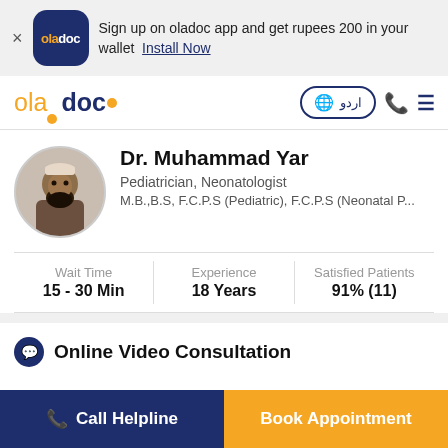Sign up on oladoc app and get rupees 200 in your wallet  Install Now
[Figure (logo): Oladoc app logo in dark blue rounded square]
oladoc   اردو   (phone icon)   (menu icon)
Dr. Muhammad Yar
Pediatrician, Neonatologist
M.B.,B.S, F.C.P.S (Pediatric), F.C.P.S (Neonatal P...
| Wait Time | Experience | Satisfied Patients |
| --- | --- | --- |
| 15 - 30 Min | 18 Years | 91% (11) |
Online Video Consultation
Call Helpline
Book Appointment